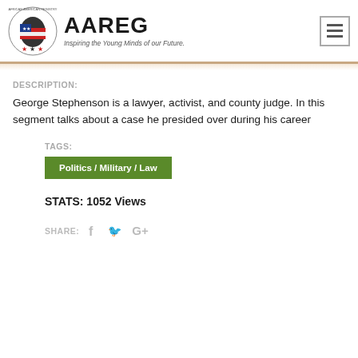[Figure (logo): African American Registry (AAREG) logo with Africa continent graphic and tagline 'Inspiring the Young Minds of our Future.']
DESCRIPTION:
George Stephenson is a lawyer, activist, and county judge. In this segment talks about a case he presided over during his career
TAGS:
Politics / Military / Law
STATS: 1052 Views
SHARE: